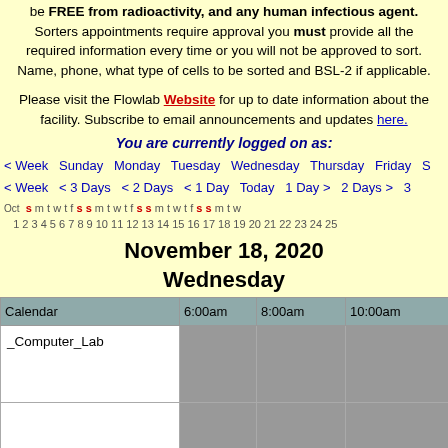be FREE from radioactivity, and any human infectious agent. Sorters appointments require approval you must provide all the required information every time or you will not be approved to sort. Name, phone, what type of cells to be sorted and BSL-2 if applicable.
Please visit the Flowlab Website for up to date information about the facility. Subscribe to email announcements and updates here.
You are currently logged on as:
< Week  Sunday  Monday  Tuesday  Wednesday  Thursday  Friday  S
< Week  < 3 Days  < 2 Days  < 1 Day  Today  1 Day >  2 Days >  3
Oct s m t w t f s s m t w t f s s m t w t f s s m t w 1 2 3 4 5 6 7 8 9 10 11 12 13 14 15 16 17 18 19 20 21 22 23 24 25
November 18, 2020 Wednesday
| Calendar | 6:00am | 8:00am | 10:00am | 12:00p |
| --- | --- | --- | --- | --- |
| _Computer_Lab |  |  |  |  |
|  |  |  |  |  |